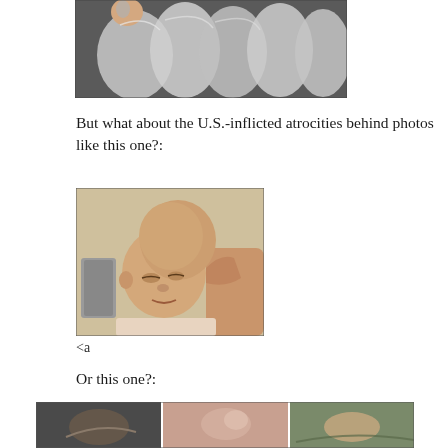[Figure (photo): Photo of bodies wrapped in white plastic bags or shrouds, stacked together]
But what about the U.S.-inflicted atrocities behind photos like this one?:
[Figure (photo): Photo of an infant with a severely deformed enlarged head, held by an adult]
<a
Or this one?:
[Figure (photo): Partial view of multiple photos showing injured or affected individuals]